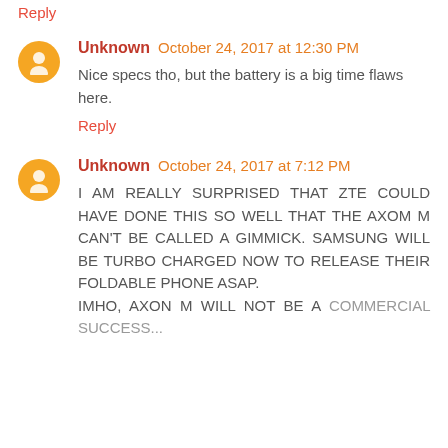Reply
Unknown October 24, 2017 at 12:30 PM
Nice specs tho, but the battery is a big time flaws here.
Reply
Unknown October 24, 2017 at 7:12 PM
I AM REALLY SURPRISED THAT ZTE COULD HAVE DONE THIS SO WELL THAT THE AXOM M CAN'T BE CALLED A GIMMICK. SAMSUNG WILL BE TURBO CHARGED NOW TO RELEASE THEIR FOLDABLE PHONE ASAP.
IMHO, AXON M WILL NOT BE A COMMERCIAL SUCCESS...